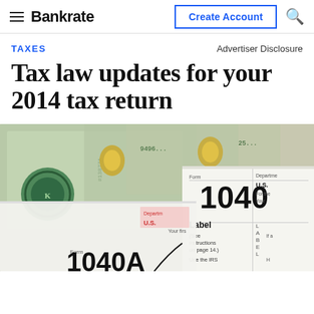Bankrate | Create Account
TAXES
Advertiser Disclosure
Tax law updates for your 2014 tax return
[Figure (photo): Close-up photograph of US currency bills (dollar bills) and IRS tax forms including Form 1040A and Form 1040, with visible labels including 'Label', '(See instructions on page 14.)', 'Use the IRS', 'Department', 'U.S.', 'Your firs']